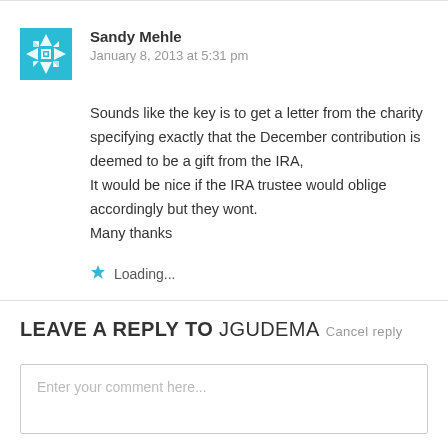[Figure (illustration): Avatar image: blue geometric snowflake/quilt pattern square icon for user Sandy Mehle]
Sandy Mehle
January 8, 2013 at 5:31 pm
Sounds like the key is to get a letter from the charity specifying exactly that the December contribution is deemed to be a gift from the IRA, It would be nice if the IRA trustee would oblige accordingly but they wont. Many thanks
Loading...
LEAVE A REPLY TO JGUDEMA Cancel reply
Enter your comment here...